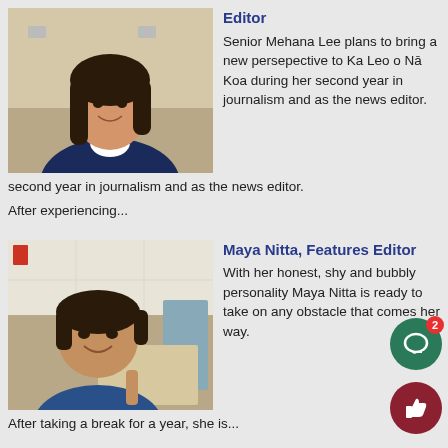[Figure (photo): Photo of Mehana Lee, a young woman with long dark hair, smiling, wearing a dark cardigan over a white shirt, in a classroom setting]
Editor
Senior Mehana Lee plans to bring a new persepective to Ka Leo o Nā Koa during her second year in journalism and as the news editor.
After experiencing...
[Figure (photo): Photo of Maya Nitta, a young woman in a blue shirt, smiling, in a classroom or office setting]
Maya Nitta, Features Editor
With her honest, shy and bubbly personality Maya Nitta is ready to take on any obstacle that comes her way.
After taking a break for a year, she is...